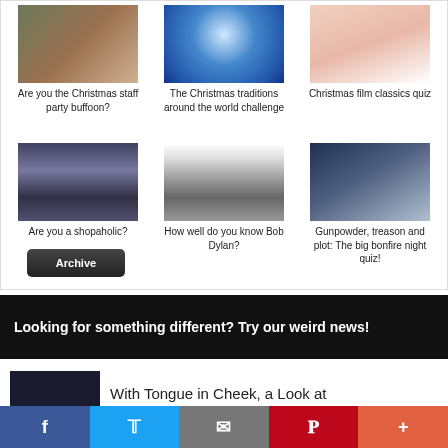[Figure (photo): Photo of woman at car window]
Are you the Christmas staff party buffoon?
[Figure (photo): Globe with soccer ball design]
The Christmas traditions around the world challenge
[Figure (photo): Woman laughing/screaming]
Christmas film classics quiz
[Figure (photo): Woman shopping with bags]
Are you a shopaholic?
[Figure (photo): Bob Dylan album/poster]
How well do you know Bob Dylan?
[Figure (photo): Guy Fawkes mask]
Gunpowder, treason and plot: The big bonfire night quiz!
Archive
Looking for something different? Try our weird news!
[Figure (photo): Dark thumbnail image]
With Tongue in Cheek, a Look at